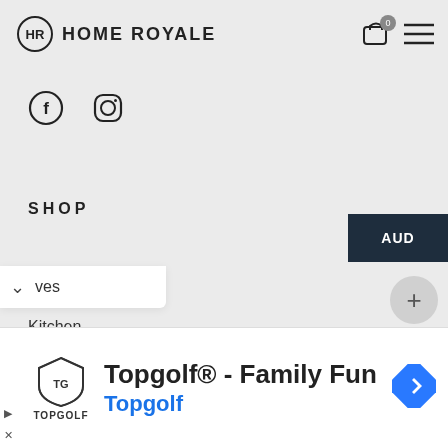HOME ROYALE
[Figure (logo): Home Royale logo with HR monogram circle and cart icon with 0 badge and hamburger menu]
[Figure (illustration): Social media icons: Facebook and Instagram]
SHOP
AUD
Shop All
Kitchen
ves
[Figure (screenshot): Advertisement banner: Topgolf® - Family Fun, Topgolf logo, blue arrow navigation icon]